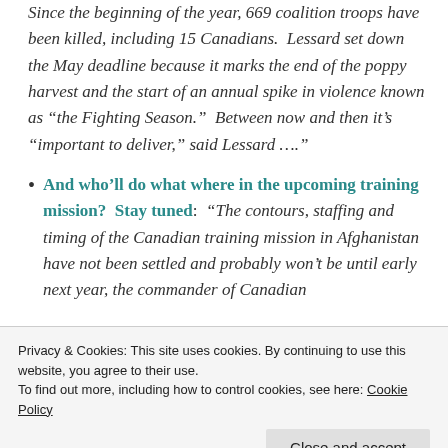Since the beginning of the year, 669 coalition troops have been killed, including 15 Canadians.  Lessard set down the May deadline because it marks the end of the poppy harvest and the start of an annual spike in violence known as “the Fighting Season.”  Between now and then it’s “important to deliver,” said Lessard ….
And who’ll do what where in the upcoming training mission?  Stay tuned:  “The contours, staffing and timing of the Canadian training mission in Afghanistan have not been settled and probably won’t be until early next year, the commander of Canadian
Privacy & Cookies: This site uses cookies. By continuing to use this website, you agree to their use. To find out more, including how to control cookies, see here: Cookie Policy
before Christmas.  The seven-member team is to